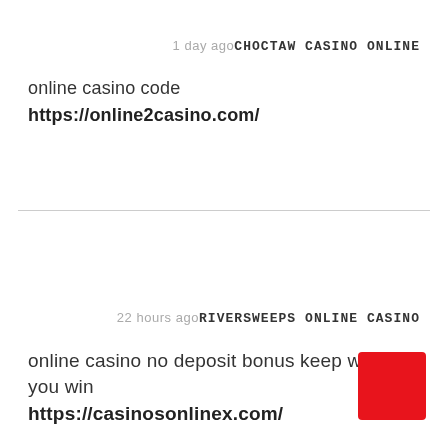1 day ago  CHOCTAW CASINO ONLINE
online casino code
https://online2casino.com/
22 hours ago  RIVERSWEEPS ONLINE CASINO
online casino no deposit bonus keep what you win
https://casinosonlinex.com/